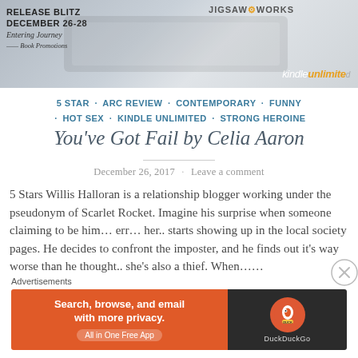[Figure (photo): Release Blitz December 26-28 banner with laptop photo, Entering Journey Book Promotions script text, Kindle Unlimited logo, and Jigsaw Works logo]
5 STAR · ARC REVIEW · CONTEMPORARY · FUNNY · HOT SEX · KINDLE UNLIMITED · STRONG HEROINE
You've Got Fail by Celia Aaron
December 26, 2017 · Leave a comment
5 Stars Willis Halloran is a relationship blogger working under the pseudonym of Scarlet Rocket. Imagine his surprise when someone claiming to be him… err… her.. starts showing up in the local society pages. He decides to confront the imposter, and he finds out it's way worse than he thought.. she's also a thief. When……
Advertisements
[Figure (screenshot): DuckDuckGo advertisement banner: Search, browse, and email with more privacy. All in One Free App. with DuckDuckGo logo on dark background.]